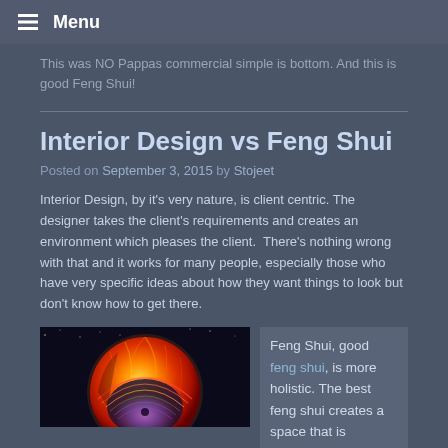Menu
This was NO Pappas commercial simple is bottom. And this is good Feng Shui!
Interior Design vs Feng Shui
Posted on September 3, 2015 by Stojeet
Interior Design, by it's very nature, is client centric. The designer takes the client's requirements and creates an environment which pleases the client.  There's nothing wrong with that and it works for many people, especially those who have very specific ideas about how they want things to look but don't know how to get there.
[Figure (photo): Colorful artistic sphere image resembling a sun with orange flames and geometric rainbow patterns]
Feng Shui, good feng shui, is more holistic. The best feng shui creates a space that is